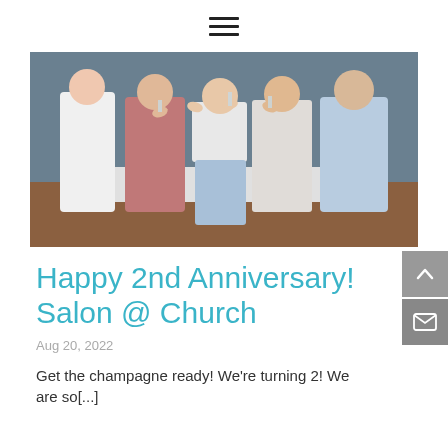≡
[Figure (photo): Group of people standing together toasting with glasses, wearing casual clothes in white, pink/mauve, light blue and white outfits, taken indoors]
Happy 2nd Anniversary! Salon @ Church
Aug 20, 2022
Get the champagne ready! We're turning 2! We are so[...]